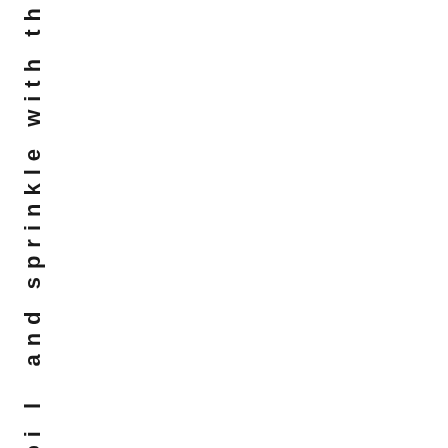ovefoi l  and sprinkle with th